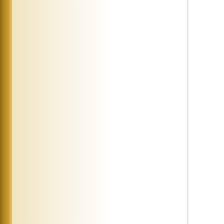enabling one struggling and
thirsting for G people is the s
David fulfilled measure' (Ps.
wine of compu
6 1 . Sorrow p actions, and it
restores them